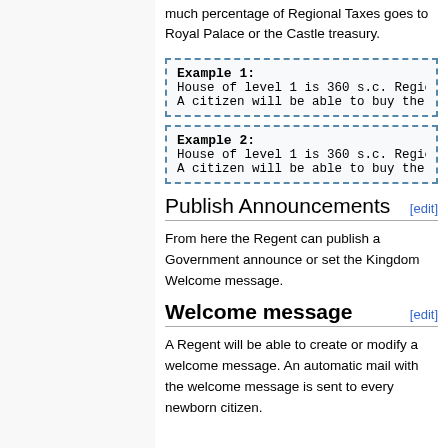much percentage of Regional Taxes goes to Royal Palace or the Castle treasury.
Example 1:
House of level 1 is 360 s.c. Region...
A citizen will be able to buy the h...
Example 2:
House of level 1 is 360 s.c. Region...
A citizen will be able to buy the h...
Publish Announcements [edit]
From here the Regent can publish a Government announce or set the Kingdom Welcome message.
Welcome message [edit]
A Regent will be able to create or modify a welcome message. An automatic mail with the welcome message is sent to every newborn citizen.